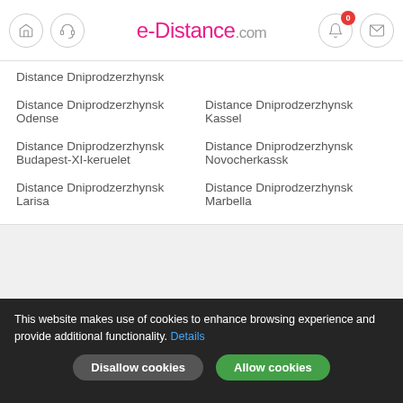e-Distance.com
Distance Dniprodzerzhynsk Odense
Distance Dniprodzerzhynsk Kassel
Distance Dniprodzerzhynsk Budapest-XI-keruelet
Distance Dniprodzerzhynsk Novocherkassk
Distance Dniprodzerzhynsk Larisa
Distance Dniprodzerzhynsk Marbella
Copyright © e-distance.com - September 2022
terms of using
This website makes use of cookies to enhance browsing experience and provide additional functionality. Details
Disallow cookies  Allow cookies